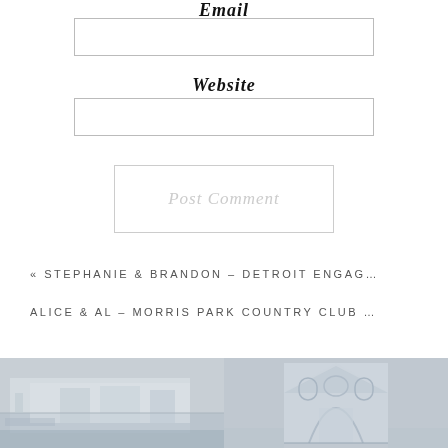Email
[Figure (other): Empty input field for email]
Website
[Figure (other): Empty input field for website]
[Figure (other): Post Comment button]
« STEPHANIE & BRANDON – DETROIT ENGAG…
ALICE & AL – MORRIS PARK COUNTRY CLUB …
[Figure (photo): Photo of a building exterior, appears to be a venue with white facade]
[Figure (photo): Photo of a church or cathedral with arched entrance]